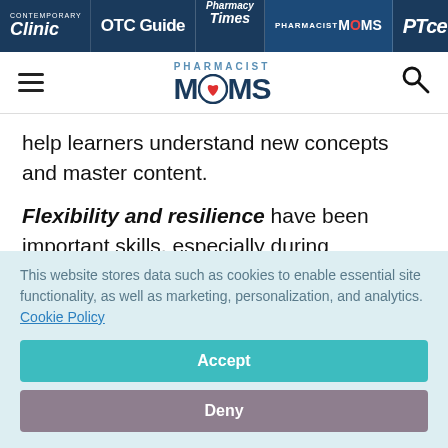Contemporary Clinic | OTC Guide | Pharmacy Times | Pharmacist Moms | PTce
[Figure (logo): Pharmacist Moms logo with hamburger menu and search icon]
help learners understand new concepts and master content.
Flexibility and resilience have been important skills, especially during ambiguous times as a
This website stores data such as cookies to enable essential site functionality, as well as marketing, personalization, and analytics. Cookie Policy
Accept
Deny